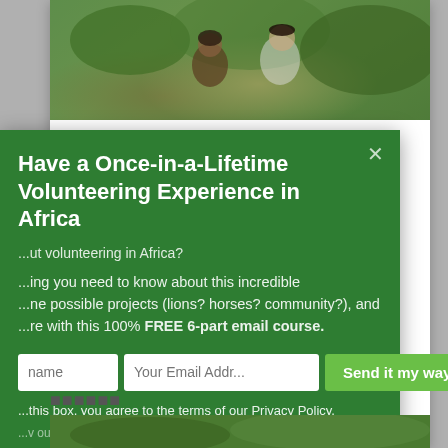[Figure (photo): Photo of people volunteering outdoors in a green natural setting, partially visible at top of modal card]
Have a Once-in-a-Lifetime Volunteering Experience in Africa
...ut volunteering in Africa?
...ing you need to know about this incredible ...ne possible projects (lions? horses? community?), and ...re with this 100% FREE 6-part email course.
...this box, you agree to the terms of our Privacy Policy.
...v our Privacy Policy.
[Figure (photo): Second partial photo at bottom of page showing green outdoor scene]